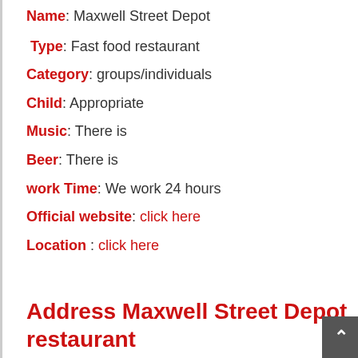Name: Maxwell Street Depot
Type: Fast food restaurant
Category: groups/individuals
Child: Appropriate
Music: There is
Beer: There is
work Time: We work 24 hours
Official website: click here
Location : click here
Address Maxwell Street Depot restaurant